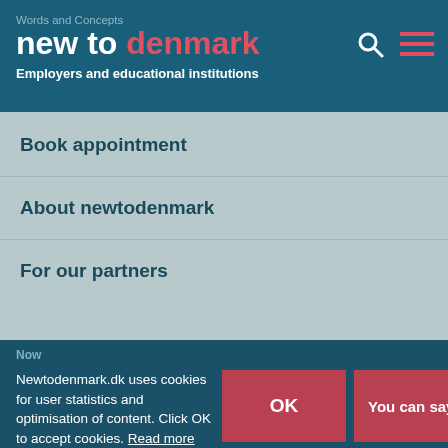Words and Concepts
new to denmark
Employers and educational institutions
Book appointment
About newtodenmark
For our partners
Newtodenmark.dk uses cookies for user statistics and optimisation of content. Click OK to accept cookies. Read more about cookies.
OK
You can say no to